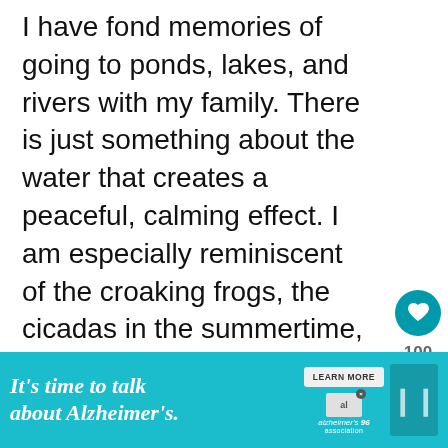I have fond memories of going to ponds, lakes, and rivers with my family. There is just something about the water that creates a peaceful, calming effect. I am especially reminiscent of the croaking frogs, the cicadas in the summertime, and the exciting “plop!” that fish make when jumping in the water or eating a bug floating on the water.
[Figure (infographic): Like/heart button (teal circle with heart icon), count of 100, and share button (white circle with share icon)]
[Figure (infographic): What's Next panel showing thumbnail image and text: Reduce Food Waste For T...]
[Figure (infographic): Advertisement banner: It's time to talk about Alzheimer's. with LEARN MORE button and Alzheimer's Association logo]